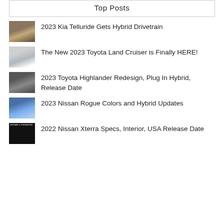Top Posts
2023 Kia Telluride Gets Hybrid Drivetrain
The New 2023 Toyota Land Cruiser is Finally HERE!
2023 Toyota Highlander Redesign, Plug In Hybrid, Release Date
2023 Nissan Rogue Colors and Hybrid Updates
2022 Nissan Xterra Specs, Interior, USA Release Date